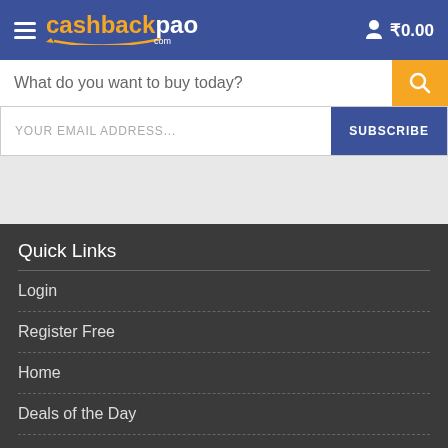cashbackpao.com — ₹0.00
What do you want to buy today?
YOUR EMAIL ADDRESS... SUBSCRIBE
Quick Links
Login
Register Free
Home
Deals of the Day
Cashback by Stores
Cashback by Categories